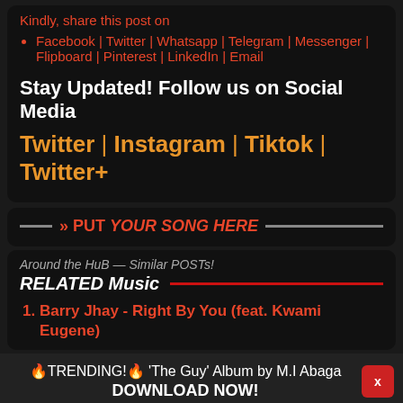Kindly, share this post on
Facebook | Twitter | Whatsapp | Telegram | Messenger | Flipboard | Pinterest | LinkedIn | Email
Stay Updated! Follow us on Social Media
Twitter | Instagram | Tiktok | Twitter+
» PUT YOUR SONG HERE
Around the HuB — Similar POSTs!
RELATED Music
Barry Jhay - Right By You (feat. Kwami Eugene)
🔥TRENDING!🔥 'The Guy' Album by M.I Abaga DOWNLOAD NOW!